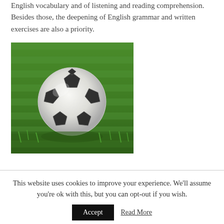English vocabulary and of listening and reading comprehension. Besides those, the deepening of English grammar and written exercises are also a priority.
[Figure (photo): A black and white soccer ball resting on green grass, photographed in close-up]
Bend it like Beckham
This website uses cookies to improve your experience. We'll assume you're ok with this, but you can opt-out if you wish.